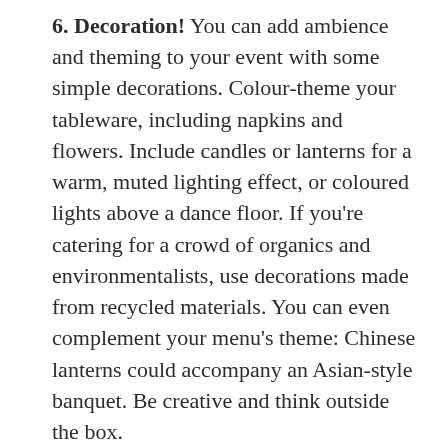6. Decoration! You can add ambience and theming to your event with some simple decorations. Colour-theme your tableware, including napkins and flowers. Include candles or lanterns for a warm, muted lighting effect, or coloured lights above a dance floor. If you're catering for a crowd of organics and environmentalists, use decorations made from recycled materials. You can even complement your menu's theme: Chinese lanterns could accompany an Asian-style banquet. Be creative and think outside the box.